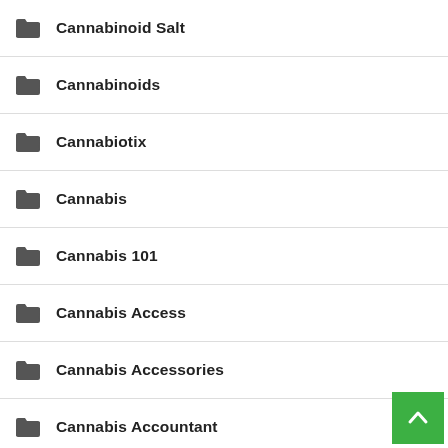Cannabinoid Salt
Cannabinoids
Cannabiotix
Cannabis
Cannabis 101
Cannabis Access
Cannabis Accessories
Cannabis Accountant
Cannabis Act
Cannabis Advocates
Cannabis And Antidepressants
Cannabis And Autism
Cannabis And Blood Pressure Medication